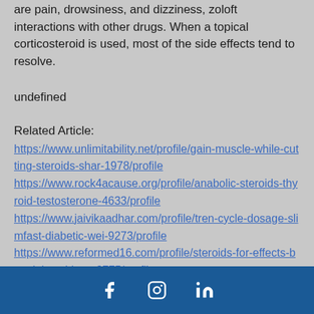are pain, drowsiness, and dizziness, zoloft interactions with other drugs. When a topical corticosteroid is used, most of the side effects tend to resolve.
undefined
Related Article:
https://www.unlimitability.net/profile/gain-muscle-while-cutting-steroids-shar-1978/profile https://www.rock4acause.org/profile/anabolic-steroids-thyroid-testosterone-4633/profile https://www.jaivikaadhar.com/profile/tren-cycle-dosage-slimfast-diabetic-wei-9273/profile https://www.reformed16.com/profile/steroids-for-effects-best-injectable-st-9775/profile
social media icons: Facebook, Instagram, LinkedIn